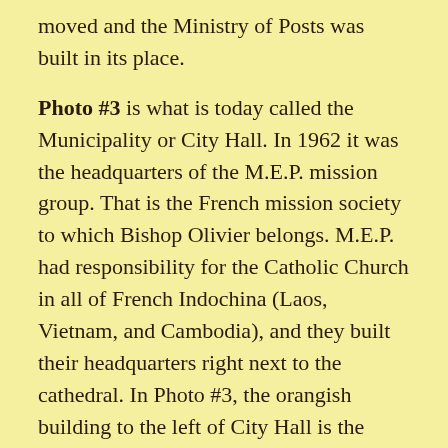moved and the Ministry of Posts was built in its place.
Photo #3 is what is today called the Municipality or City Hall. In 1962 it was the headquarters of the M.E.P. mission group. That is the French mission society to which Bishop Olivier belongs. M.E.P. had responsibility for the Catholic Church in all of French Indochina (Laos, Vietnam, and Cambodia), and they built their headquarters right next to the cathedral. In Photo #3, the orangish building to the left of City Hall is the Ministry of Posts which replaced the cathedral.
After all the wars, the government took over